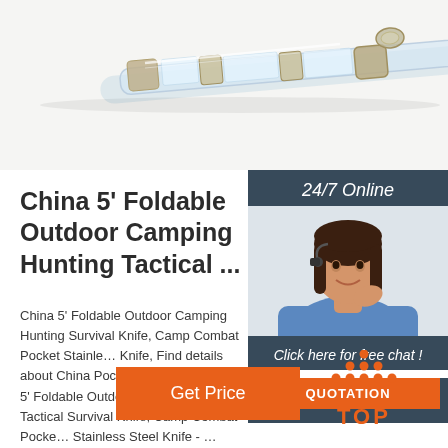[Figure (photo): Product photo of a transparent/glass-like foldable knife with metal hardware, shown open on white background]
24/7 Online
[Figure (photo): Customer service agent woman with headset smiling, wearing blue shirt]
Click here for free chat !
QUOTATION
China 5' Foldable Outdoor Camping Hunting Tactical ...
China 5' Foldable Outdoor Camping Hunting Survival Knife, Camp Combat Pocket Stainless Knife, Find details about China Pocket Knife, Knife from 5' Foldable Outdoor Camping Hunting Tactical Survival Knife, Camp Combat Pocket Stainless Steel Knife - ...
Get Price
[Figure (logo): TOP logo with orange dot pattern forming a triangle/arrow shape above the word TOP in orange]